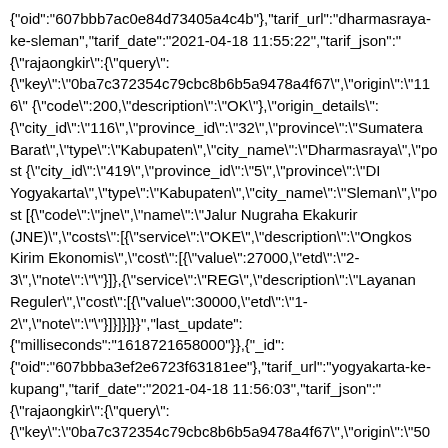{"oid":"607bbb7ac0e84d73405a4c4b"},"tarif_url":"dharmasraya-ke-sleman","tarif_date":"2021-04-18 11:55:22","tarif_json":"{\"rajaongkir\":{\"query\":{\"key\":\"0ba7c372354c79cbc8b6b5a9478a4f67\",\"origin\":\"116\"{\"code\":200,\"description\":\"OK\"},\"origin_details\":{\"city_id\":\"116\",\"province_id\":\"32\",\"province\":\"Sumatera Barat\",\"type\":\"Kabupaten\",\"city_name\":\"Dharmasraya\",\"post{\"city_id\":\"419\",\"province_id\":\"5\",\"province\":\"DI Yogyakarta\",\"type\":\"Kabupaten\",\"city_name\":\"Sleman\",\"post[{\"code\":\"jne\",\"name\":\"Jalur Nugraha Ekakurir (JNE)\",\"costs\":[{\"service\":\"OKE\",\"description\":\"Ongkos Kirim Ekonomis\",\"cost\":[{\"value\":27000,\"etd\":\"2-3\",\"note\":\"\"}]},{\"service\":\"REG\",\"description\":\"Layanan Reguler\",\"cost\":[{\"value\":30000,\"etd\":\"1-2\",\"note\":\"\"}]}]}]}}","last_update":{"milliseconds":"1618721658000"}},{"_id":{"oid":"607bbba3ef2e6723f63181ee"},"tarif_url":"yogyakarta-ke-kupang","tarif_date":"2021-04-18 11:56:03","tarif_json":"{\"rajaongkir\":{\"query\":{\"key\":\"0ba7c372354c79cbc8b6b5a9478a4f67\",\"origin\":\"501\"{\"code\":200,\"description\":\"OK\"},\"origin_details\":{\"city_id\":\"501\",\"province_id\":\"5\",\"province\":\"DI Yogyakarta\",\"type\":\"Kota\",\"city_name\":\"Yogyakarta\",\"postal{\"city_id\":\"212\",\"province_id\":\"23\",\"province\":\"Nusa Tenggara Timur